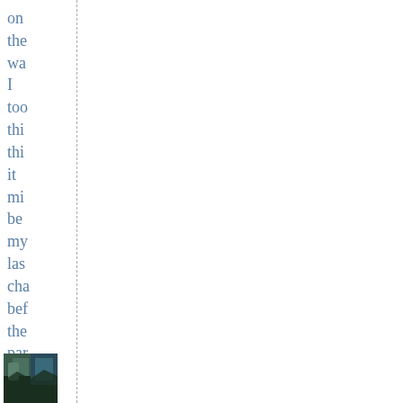on
the
wa
I
too
thi
thi
it
mi
be
my
las
cha
bef
the
par
rem
[Figure (photo): Small thumbnail photograph, partially visible at bottom left, appearing to show trees or foliage with blue-green tones.]